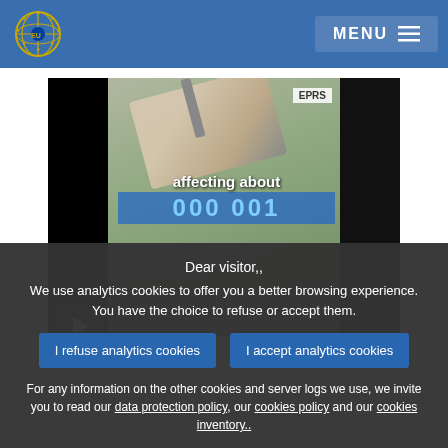European Parliament - MENU
[Figure (screenshot): Video thumbnail showing a hand holding a smartphone with text 'affecting about 000 001' and EPRS logo; partially obscured by cookie consent overlay]
Dear visitor,, We use analytics cookies to offer you a better browsing experience. You have the choice to refuse or accept them.
I refuse analytics cookies
I accept analytics cookies
For any information on the other cookies and server logs we use, we invite you to read our data protection policy, our cookies policy and our cookies inventory..